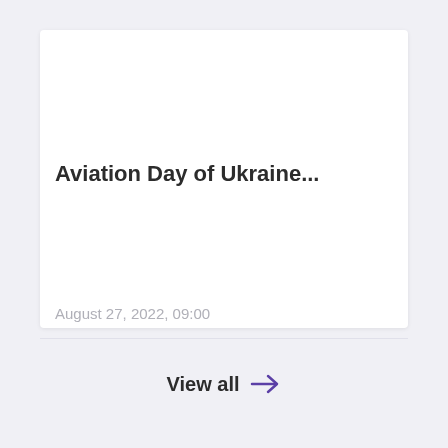Aviation Day of Ukraine...
August 27, 2022, 09:00
View all →